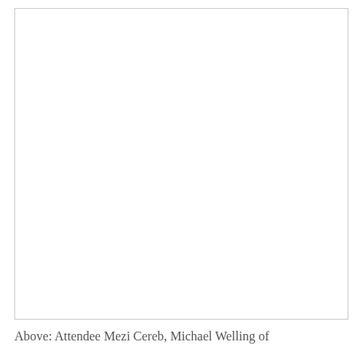[Figure (photo): A large white/blank photo area with a light gray border, representing an image of attendees. The image content is not visible (white/blank).]
Above: Attendee Mezi Cereb, Michael Welling of